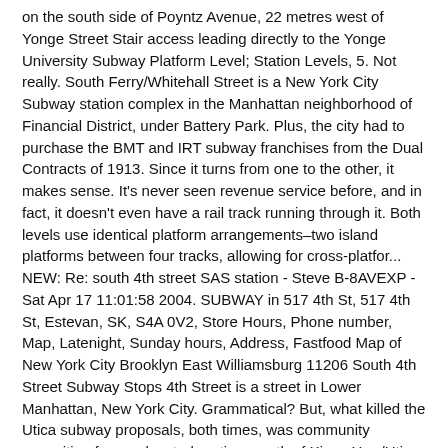on the south side of Poyntz Avenue, 22 metres west of Yonge Street Stair access leading directly to the Yonge University Subway Platform Level; Station Levels, 5. Not really. South Ferry/Whitehall Street is a New York City Subway station complex in the Manhattan neighborhood of Financial District, under Battery Park. Plus, the city had to purchase the BMT and IRT subway franchises from the Dual Contracts of 1913. Since it turns from one to the other, it makes sense. It's never seen revenue service before, and in fact, it doesn't even have a rail track running through it. Both levels use identical platform arrangements–two island platforms between four tracks, allowing for cross-platfor... NEW: Re: south 4th street SAS station - Steve B-8AVEXP - Sat Apr 17 11:01:58 2004. SUBWAY in 517 4th St, 517 4th St, Estevan, SK, S4A 0V2, Store Hours, Phone number, Map, Latenight, Sunday hours, Address, Fastfood Map of New York City Brooklyn East Williamsburg 11206 South 4th Street Subway Stops 4th Street is a street in Lower Manhattan, New York City. Grammatical? But, what killed the Utica subway proposals, both times, was community opposition for an elevated portion, south of Kings Hwy/Utica to Ave 'U', due to lowlands and a high water table.